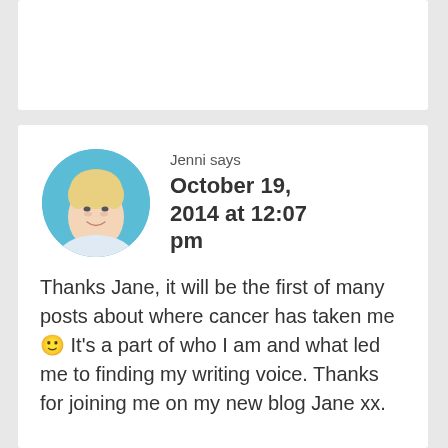[Figure (photo): Circular profile photo of a woman with short blonde hair against a blue background]
Jenni says
October 19, 2014 at 12:07 pm
Thanks Jane, it will be the first of many posts about where cancer has taken me 🙂 It's a part of who I am and what led me to finding my writing voice. Thanks for joining me on my new blog Jane xx.